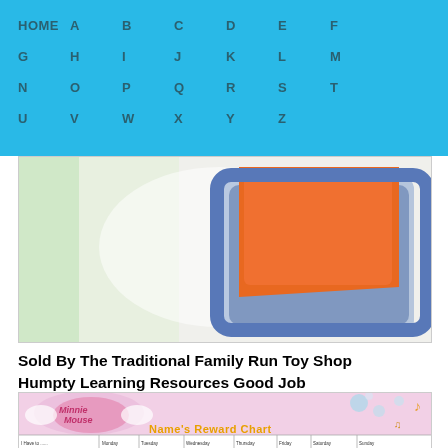HOME A B C D E F G H I J K L M N O P Q R S T U V W X Y Z
[Figure (photo): Close-up photo of colorful children's toy puzzle board with orange and blue pieces]
Sold By The Traditional Family Run Toy Shop Humpty Learning Resources Good Job Reward Chart Track Your Child 039 S Good
[Figure (photo): Minnie Mouse Name's Reward Chart with pink background, Minnie Mouse logo, musical notes, bubbles, and a weekly chart grid at the bottom with days of the week columns]